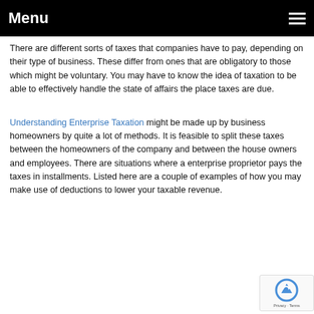Menu
There are different sorts of taxes that companies have to pay, depending on their type of business. These differ from ones that are obligatory to those which might be voluntary. You may have to know the idea of taxation to be able to effectively handle the state of affairs the place taxes are due.
Understanding Enterprise Taxation might be made up by business homeowners by quite a lot of methods. It is feasible to split these taxes between the homeowners of the company and between the house owners and employees. There are situations where a enterprise proprietor pays the taxes in installments. Listed here are a couple of examples of how you may make use of deductions to lower your taxable revenue.
[Figure (logo): reCAPTCHA badge with Privacy and Terms text]